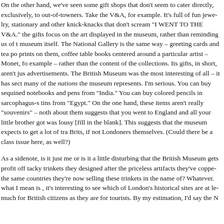On the other hand, we've seen some gift shops that don't seem to cater directly, exclusively, to out-of-towners. Take the V&A, for example. It's full of fun jewellery, stationary and other knick-knacks that don't scream "I WENT TO THE V&A." Rather, the gifts focus on the art displayed in the museum, rather than reminding us of the museum itself. The National Gallery is the same way – greeting cards and tea pots with prints on them, coffee table books centered around a particular artist – Monet, for example – rather than the content of the collections. Its gifts, in short, aren't just advertisements. The British Museum was the most interesting of all – it has sections for many of the nations the museum represents. I'm serious. You can buy sequined notebooks and pens from "India." You can buy colored pencils in sarcophagus-shaped tins from "Egypt." On the one hand, these items aren't really "souvenirs" – nothing about them suggests that you went to England and all your little brother got was a lousy [fill in the blank]. This suggests that the museum expects to get a lot of traffic from Brits, if not Londoners themselves. (Could there be a class issue here, as well?)
As a sidenote, is it just me or is it a little disturbing that the British Museum gets to profit off tacky trinkets they designed after the priceless artifacts they've copped from the same countries they're now selling these trinkets in the name of? Whatever. I guess what I mean is , it's interesting to see which of London's historical sites are at least as much for British citizens as they are for tourists. By my estimation, I'd say the N...